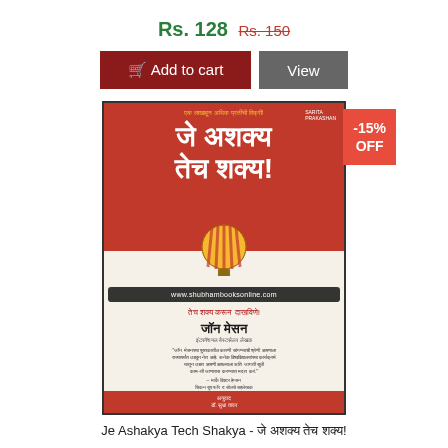Rs. 128 Rs. 150
Add to cart  View
[Figure (photo): Book cover of 'Je Ashakya Tech Shakya' (जे अशक्य तेच शक्य!) by John Mason, Marathi edition. Red cover with Marathi title text and a hot air balloon graphic. Watermark reads www.shubhambooksonline.com. Publisher footer in red.]
-15% OFF
Je Ashakya Tech Shakya - जे अशक्य तेच शक्य!